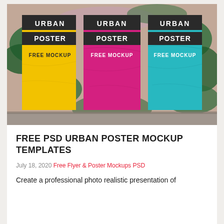[Figure (photo): Three urban poster mockups affixed to a graffiti-covered brick wall. Left poster is yellow, center is magenta/pink, right is teal/cyan. Each poster shows 'URBAN POSTER' in dark banner text and 'FREE MOCKUP' in bold letters on the colored background. The posters appear wrinkled/glued to the wall.]
FREE PSD URBAN POSTER MOCKUP TEMPLATES
July 18, 2020 Free Flyer & Poster Mockups PSD
Create a professional photo realistic presentation of